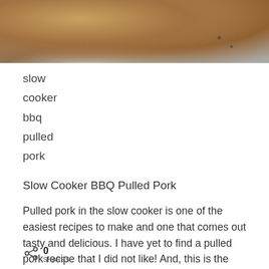[Figure (photo): Close-up photo of a bread bun or pulled pork bun on a wooden surface, with small dark seeds or spices visible in the background.]
slow
cooker
bbq
pulled
pork
Slow Cooker BBQ Pulled Pork
Pulled pork in the slow cooker is one of the easiest recipes to make and one that comes out tasty and delicious. I have yet to find a pulled pork recipe that I did not like! And, this is the one food that my kids will
0
SHARES